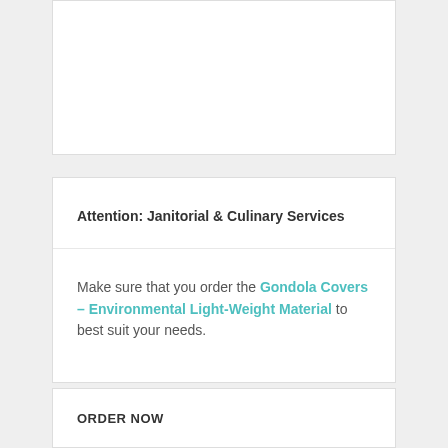Attention: Janitorial & Culinary Services
Make sure that you order the Gondola Covers – Environmental Light-Weight Material to best suit your needs.
ORDER NOW